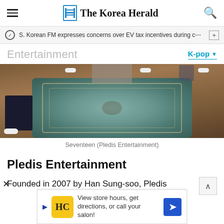The Korea Herald
S. Korean FM expresses concerns over EV tax incentives during c...
Entertainment
K-pop
[Figure (photo): Seventeen members on a wooden floor with an ornate rug, viewed from above]
Seventeen (Pledis Entertainment)
Pledis Entertainment
Founded in 2007 by Han Sung-soo, Pledis
[Figure (advertisement): Ad banner: View store hours, get directions, or call your salon!]